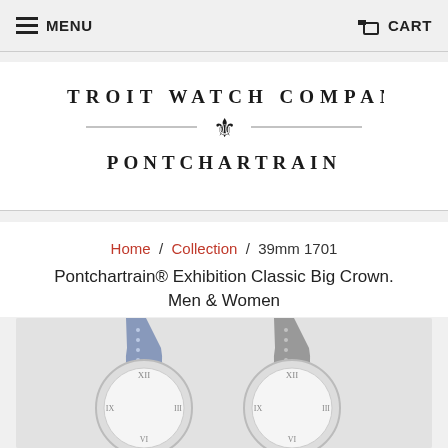MENU  CART
[Figure (logo): Detroit Watch Company Pontchartrain logo with fleur-de-lis]
Home / Collection / 39mm 1701 Pontchartrain® Exhibition Classic Big Crown. Men & Women
[Figure (photo): Two watches side by side showing blue/periwinkle and gray leather straps with white watch faces showing Roman numerals]